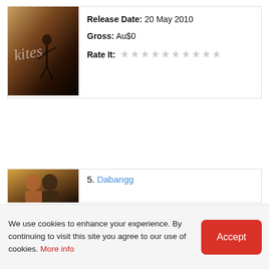[Figure (photo): Movie poster for Kites (2010), warm golden-brown tones with a dancer silhouette]
Release Date: 20 May 2010
Gross: Au$0
Rate It: (star rating widget)
[Figure (photo): Movie poster for Dabangg showing two people with sunglasses, warm tones]
5. Dabangg
We use cookies to enhance your experience. By continuing to visit this site you agree to our use of cookies. More info